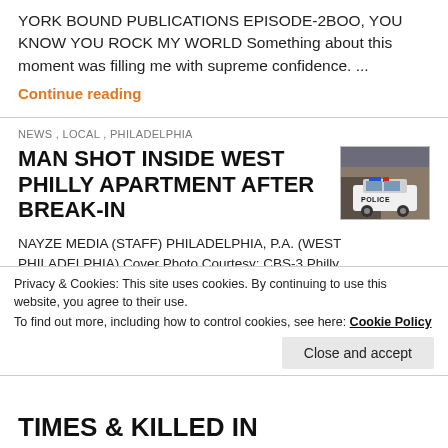YORK BOUND PUBLICATIONS EPISODE-2BOO, YOU KNOW YOU ROCK MY WORLD Something about this moment was filling me with supreme confidence. ...
Continue reading
NEWS , LOCAL , PHILADELPHIA
MAN SHOT INSIDE WEST PHILLY APARTMENT AFTER BREAK-IN
[Figure (photo): Thumbnail photo of a police vehicle outside a building]
NAYZE MEDIA (STAFF) PHILADELPHIA, P.A. (WEST PHILADELPHIA) Cover Photo Courtesy: CBS-3 Philly Don't forget to like & subscribe to our Continue reading
Privacy & Cookies: This site uses cookies. By continuing to use this website, you agree to their use. To find out more, including how to control cookies, see here: Cookie Policy
Close and accept
TIMES & KILLED IN